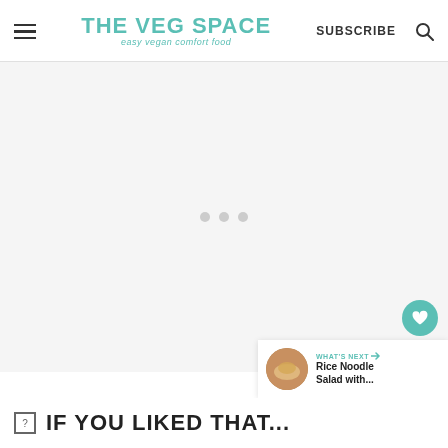THE VEG SPACE easy vegan comfort food | SUBSCRIBE
[Figure (other): Large blank advertisement/content area with three small gray dots in the center indicating loading or placeholder content]
[Figure (other): Floating action button: teal circle with white heart icon]
[Figure (other): Floating action button: white circle with share icon]
[Figure (other): What's Next card showing thumbnail image of Rice Noodle Salad dish]
WHAT'S NEXT → Rice Noodle Salad with...
IF YOU LIKED THAT...